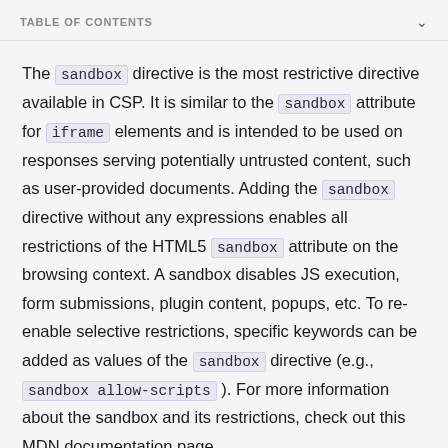TABLE OF CONTENTS
The sandbox directive is the most restrictive directive available in CSP. It is similar to the sandbox attribute for iframe elements and is intended to be used on responses serving potentially untrusted content, such as user-provided documents. Adding the sandbox directive without any expressions enables all restrictions of the HTML5 sandbox attribute on the browsing context. A sandbox disables JS execution, form submissions, plugin content, popups, etc. To re-enable selective restrictions, specific keywords can be added as values of the sandbox directive (e.g., sandbox allow-scripts ). For more information about the sandbox and its restrictions, check out this MDN documentation page.